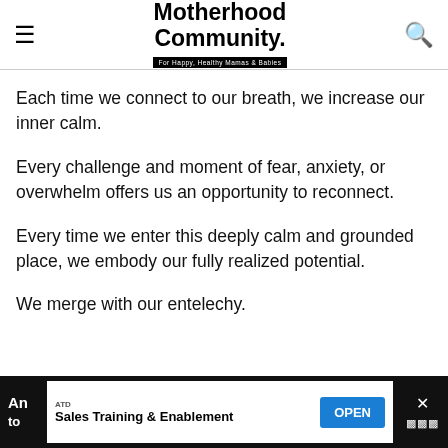Motherhood Community. For Happy, Healthy Mamas & Babies
Each time we connect to our breath, we increase our inner calm.
Every challenge and moment of fear, anxiety, or overwhelm offers us an opportunity to reconnect.
Every time we enter this deeply calm and grounded place, we embody our fully realized potential.
We merge with our entelechy.
ATD Sales Training & Enablement OPEN [advertisement banner]